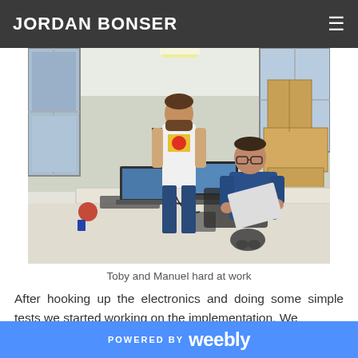JORDAN BONSER
[Figure (photo): Two people working at a cluttered office desk with laptops, boxes, and equipment. One person stands in the background wearing a graphic t-shirt, another sits in the foreground wearing a blue shirt working on a laptop.]
Toby and Manuel hard at work
After hooking up the electronics and doing some simple tests we started working on the implementation. We
POWERED BY weebly